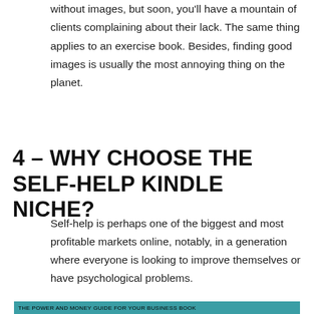For instance, you could publish a cookbook without images, but soon, you'll have a mountain of clients complaining about their lack. The same thing applies to an exercise book. Besides, finding good images is usually the most annoying thing on the planet.
4 – WHY CHOOSE THE SELF-HELP KINDLE NICHE?
Self-help is perhaps one of the biggest and most profitable markets online, notably, in a generation where everyone is looking to improve themselves or have psychological problems.
[Figure (other): A dark teal/cyan colored banner bar at the bottom of the page with small text, partially cut off.]